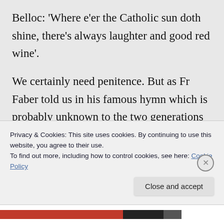Belloc: 'Where e'er the Catholic sun doth shine, there's always laughter and good red wine'.
We certainly need penitence. But as Fr Faber told us in his famous hymn which is probably unknown to the two generations which have been nurtured in the poisonous atmosphere which followed V2: 'Do more than pardon, give us joy;
Privacy & Cookies: This site uses cookies. By continuing to use this website, you agree to their use.
To find out more, including how to control cookies, see here: Cookie Policy
Close and accept